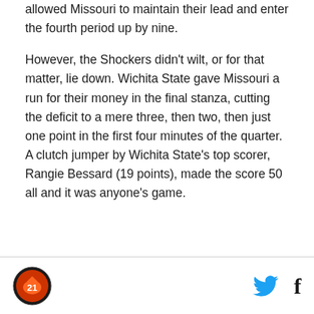allowed Missouri to maintain their lead and enter the fourth period up by nine.
However, the Shockers didn't wilt, or for that matter, lie down. Wichita State gave Missouri a run for their money in the final stanza, cutting the deficit to a mere three, then two, then just one point in the first four minutes of the quarter. A clutch jumper by Wichita State's top scorer, Rangie Bessard (19 points), made the score 50 all and it was anyone's game.
Logo and social share icons